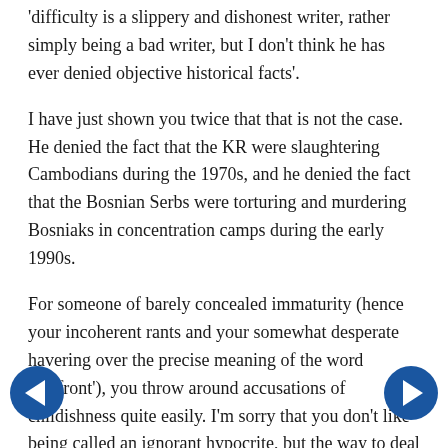'difficulty is a slippery and dishonest writer, rather simply being a bad writer, but I don't think he has ever denied objective historical facts'.
I have just shown you twice that that is not the case. He denied the fact that the KR were slaughtering Cambodians during the 1970s, and he denied the fact that the Bosnian Serbs were torturing and murdering Bosniaks in concentration camps during the early 1990s.
For someone of barely concealed immaturity (hence your incoherent rants and your somewhat desperate havering over the precise meaning of the word 'confront'), you throw around accusations of childishness quite easily. I'm sorry that you don't like being called an ignorant hypocrite, but the way to deal with that is to actually take the time and trouble to educate yourself about the issues that get you het up, and also to try and adopt a consistent point of view. Not one that - like Chomsky himself - switches and turns as circumstances dictate.